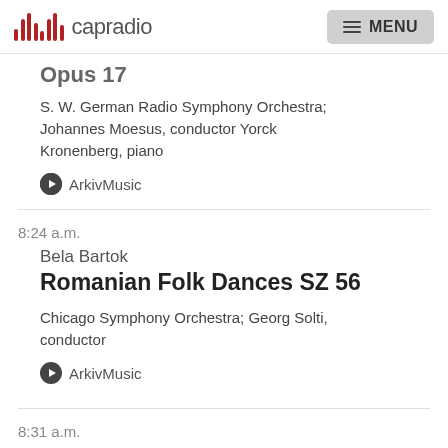capradio  MENU
Opus 17
S. W. German Radio Symphony Orchestra; Johannes Moesus, conductor Yorck Kronenberg, piano
ArkivMusic
8:24 a.m.
Bela Bartok
Romanian Folk Dances SZ 56
Chicago Symphony Orchestra; Georg Solti, conductor
ArkivMusic
8:31 a.m.